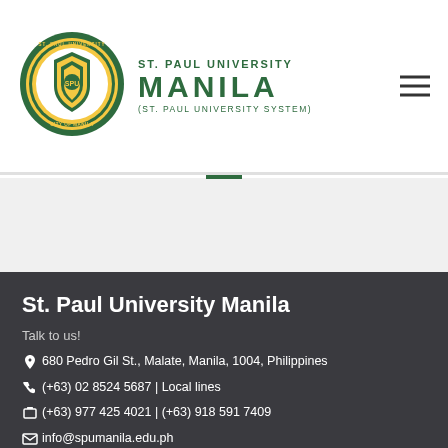[Figure (logo): St. Paul University Manila circular seal logo with green border and yellow/gold interior shield design]
ST. PAUL UNIVERSITY MANILA (St. Paul University System)
St. Paul University Manila
Talk to us!
680 Pedro Gil St., Malate, Manila, 1004, Philippines
(+63) 02 8524 5687 | Local lines
(+63) 977 425 4021 | (+63) 918 591 7409
info@spumanila.edu.ph